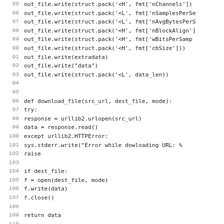Code listing lines 85–116 showing Python functions for writing WAV file headers, downloading files, and getting manifests.